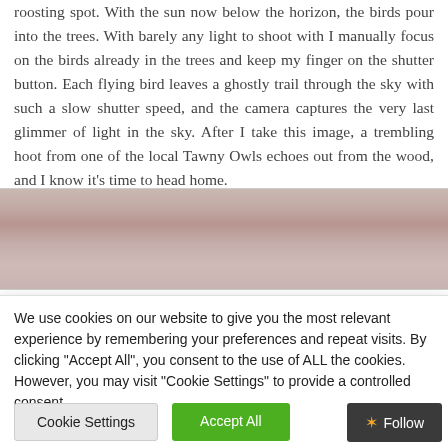roosting spot. With the sun now below the horizon, the birds pour into the trees. With barely any light to shoot with I manually focus on the birds already in the trees and keep my finger on the shutter button. Each flying bird leaves a ghostly trail through the sky with such a slow shutter speed, and the camera captures the very last glimmer of light in the sky. After I take this image, a trembling hoot from one of the local Tawny Owls echoes out from the wood, and I know it's time to head home.
[Figure (photo): Partial view of a nature photograph showing a textured surface with muted pink, brown, and grey tones, partially obscured by a cookie consent overlay.]
We use cookies on our website to give you the most relevant experience by remembering your preferences and repeat visits. By clicking "Accept All", you consent to the use of ALL the cookies. However, you may visit "Cookie Settings" to provide a controlled consent.